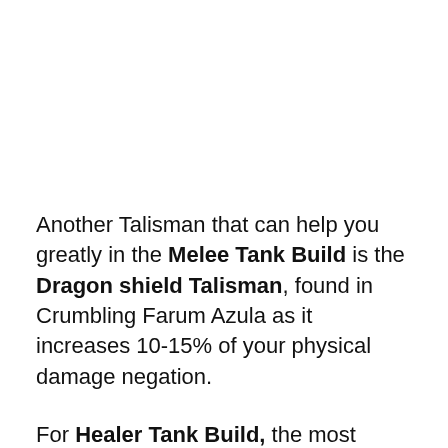Another Talisman that can help you greatly in the Melee Tank Build is the Dragon shield Talisman, found in Crumbling Farum Azula as it increases 10-15% of your physical damage negation.
For Healer Tank Build, the most important Talisman will be the Dragoncrest Greatshield Talisman, which allows you to take 20% less damage from all incoming physical attacks.